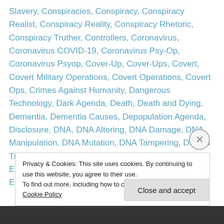Slavery, Conspiracies, Conspiracy, Conspiracy Realist, Conspiracy Reality, Conspiracy Rhetoric, Conspiracy Truther, Controllers, Coronavirus, Coronavirus COVID-19, Coronavirus Psy-Op, Coronavirus Psyop, Cover-Up, Cover-Ups, Covert, Covert Military Operations, Covert Operations, Covert Ops, Crimes Against Humanity, Dangerous Technology, Dark Agenda, Death, Death and Dying, Dementia, Dementia Causes, Depopulation Agenda, Disclosure, DNA, DNA Altering, DNA Damage, DNA Manipulation, DNA Mutation, DNA Tampering, Donald Trump, Donald Trump Made It Easier For GMOs to Enter Our Food Supply, Drugs, Dumbing-Down, Electromagnetic Weaponry,
Privacy & Cookies: This site uses cookies. By continuing to use this website, you agree to their use. To find out more, including how to control cookies, see here: Cookie Policy